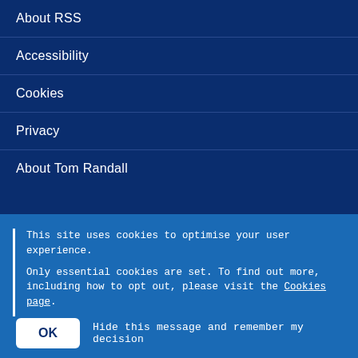About RSS
Accessibility
Cookies
Privacy
About Tom Randall
This site uses cookies to optimise your user experience.

Only essential cookies are set. To find out more, including how to opt out, please visit the Cookies page.
OK   Hide this message and remember my decision